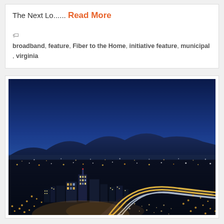The Next Lo...... Read More
broadband, feature, Fiber to the Home, initiative feature, municipal, virginia
[Figure (photo): Aerial night-time cityscape photograph showing a city with illuminated buildings and highways curving through the foreground, mountains silhouetted against a deep blue sky in the background.]